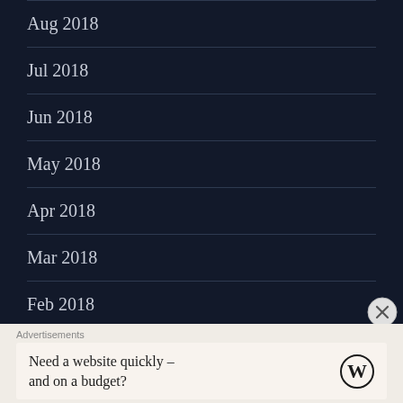Aug 2018
Jul 2018
Jun 2018
May 2018
Apr 2018
Mar 2018
Feb 2018
Jan 2018
Dec 2017
Advertisements
Need a website quickly – and on a budget?